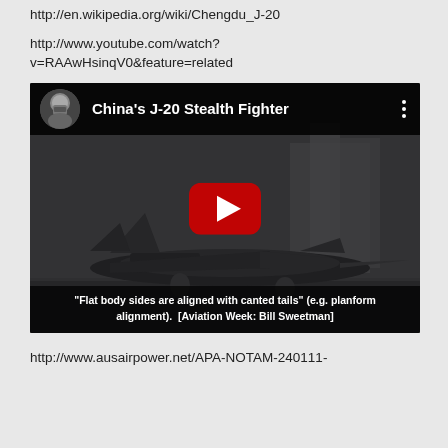http://en.wikipedia.org/wiki/Chengdu_J-20
http://www.youtube.com/watch?v=RAAwHsinqV0&feature=related
[Figure (screenshot): YouTube video thumbnail showing China's J-20 Stealth Fighter. Dark header bar with avatar and title 'China's J-20 Stealth Fighter'. Background image of stealth jet aircraft on runway with buildings in background. Red YouTube play button in center. Caption at bottom: '"Flat body sides are aligned with canted tails" (e.g. planform alignment). [Aviation Week: Bill Sweetman]']
http://www.ausairpower.net/APA-NOTAM-240111-